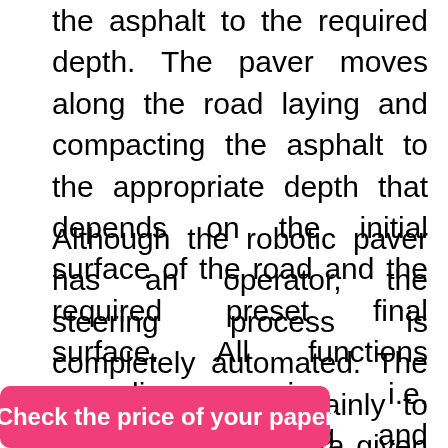the asphalt to the required depth. The paver moves along the road laying and compacting the asphalt to the appropriate depth that depends on the initial surface of the road and the required preset final surface. All functions regarding paving i.e. compacting, laying and leveling are all controlled by computer programs inbuilt into the robot.
Although the robotic paver has an operator, the steering process is completely automated. The operator's job is mainly to set the paver along a given guideline and perform small task such as setting the paver to receive asphalt. A specific guideline such as a curb forms the basis of mechanical referencing through which the RoadRobot steers. In situations where a guideline is absent, a laser based navigation system installed in the robot is utilized. The laser system scans the he angle between nts installed by
Check the price of your paper